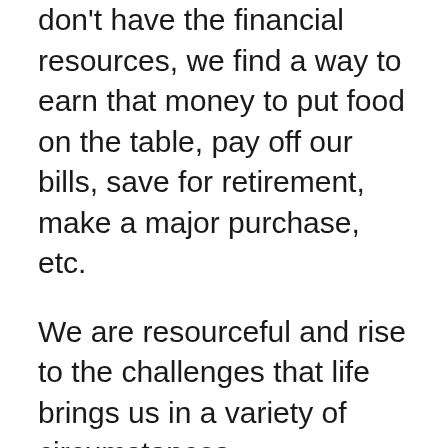don't have the financial resources, we find a way to earn that money to put food on the table, pay off our bills, save for retirement, make a major purchase, etc.
We are resourceful and rise to the challenges that life brings us in a variety of circumstances.
One of those circumstances is the unfortunate reality that clothes need to be purchased and we don't have the money.
What do we do?